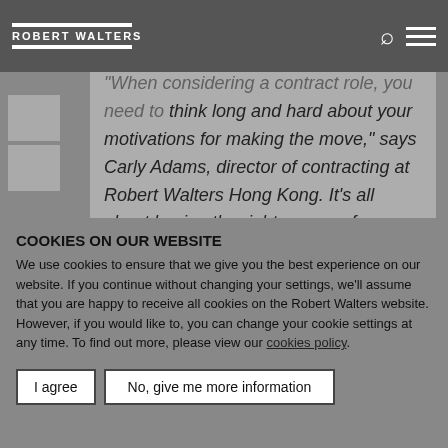ROBERT WALTERS
"When considering a contract role, you need to think long and hard about your motivations for making the move," says Carly Adams, director of contracting at Robert Walters Hong Kong. It's all about having the right reasons for making the switch, she adds. "Is it to grow your experience in a new industry, learn and enhance your skills, or achieve a better work/life balance?"
COOKIES ON OUR WEBSITE
We use cookies to ensure that we give you the best experience on our website. If you continue without changing your settings, we'll assume that you are happy to receive all cookies on the Robert Walters website. However, if you would like to, you can change your cookie settings at any time. To find out more, please view our cookies policy.
I agree
No, give me more information